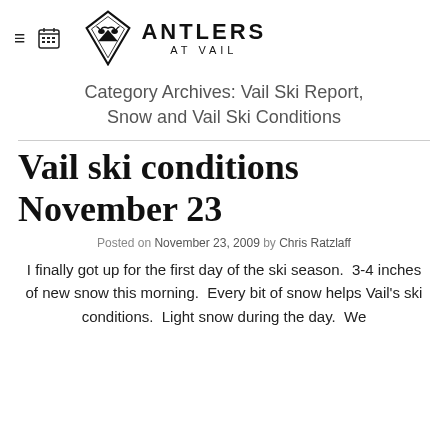[Figure (logo): Antlers at Vail logo with diamond-shaped badge and antler/bird imagery, with 'ANTLERS AT VAIL' text]
Category Archives: Vail Ski Report, Snow and Vail Ski Conditions
Vail ski conditions November 23
Posted on November 23, 2009 by Chris Ratzlaff
I finally got up for the first day of the ski season.  3-4 inches of new snow this morning.  Every bit of snow helps Vail's ski conditions.  Light snow during the day.  We